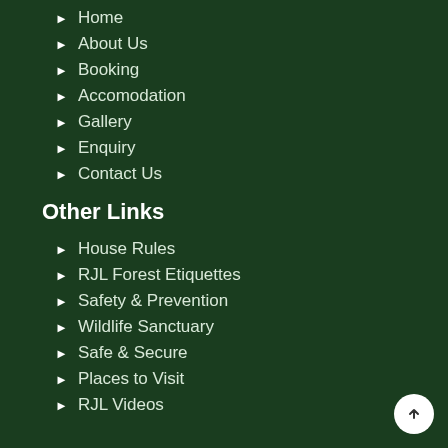Home
About Us
Booking
Accomodation
Gallery
Enquiry
Contact Us
Other Links
House Rules
RJL Forest Etiquettes
Safety & Prevention
Wildlife Sanctuary
Safe & Secure
Places to Visit
RJL Videos